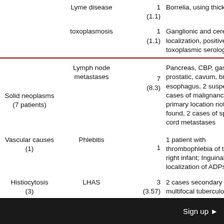| Category | Diagnosis | N (%) | Details |
| --- | --- | --- | --- |
|  | Lyme disease | 1
(1.1) | Borrelia, using thick gout |
|  | toxoplasmosis | 1
(1.1) | Ganglionic and cerebral localization, positive toxoplasmic serology |
| Solid neoplasms
(7 patients) | Lymph node metastases | 7
(8.3) | Pancreas, CBP, gastric, prostatic, cavum, breast, esophagus, 2 suspected cases of malignancy with primary location not found, 2 cases of spinal cord metastases |
| Vascular causes (1) | Phlebitis | 1 | 1 patient with thrombophlebia of the right infant; Inguinal localization of ADPs |
| Histiocytosis
(3) | LHAS | 3
(3.57) | 2 cases secondary to multifocal tuberculosis, 1 |
Sign up ▶